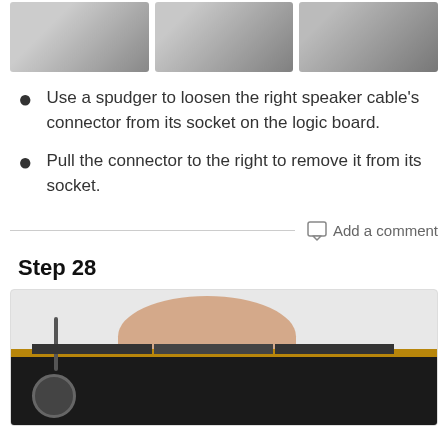[Figure (photo): Three photos showing hands working with a speaker cable connector on a logic board]
Use a spudger to loosen the right speaker cable's connector from its socket on the logic board.
Pull the connector to the right to remove it from its socket.
Add a comment
Step 28
[Figure (photo): Photo showing a hand gripping a device component during repair, with cables and circuit board visible]